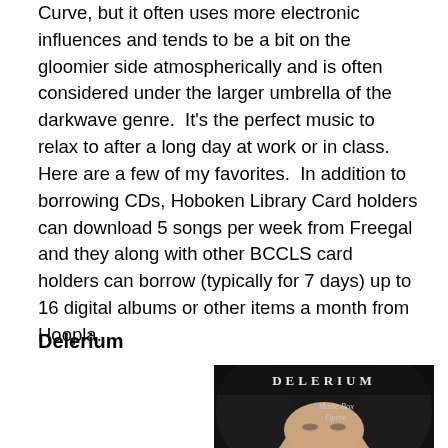Curve, but it often uses more electronic influences and tends to be a bit on the gloomier side atmospherically and is often considered under the larger umbrella of the darkwave genre.  It's the perfect music to relax to after a long day at work or in class.  Here are a few of my favorites.  In addition to borrowing CDs, Hoboken Library Card holders can download 5 songs per week from Freegal and they along with other BCCLS card holders can borrow (typically for 7 days) up to 16 digital albums or other items a month from Hoopla.
Delerium
[Figure (photo): Album cover for Delerium 'Music Box Opera' showing a close-up of a person's face with dark hair against a dark background, with the text 'DELERIUM' and 'Music Box Opera' overlaid in decorative font]